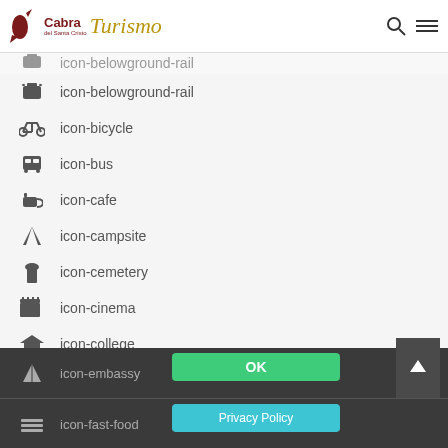Cabra Turismo - header with logo and navigation
icon-belowground-rail
icon-bicycle
icon-bus
icon-cafe
icon-campsite
icon-cemetery
icon-cinema
icon-college
icon-commerical-building
icon-credit-card-3
icon-cricket
icon-embassy  OK  |  icon-fast-food  Privacy Policy